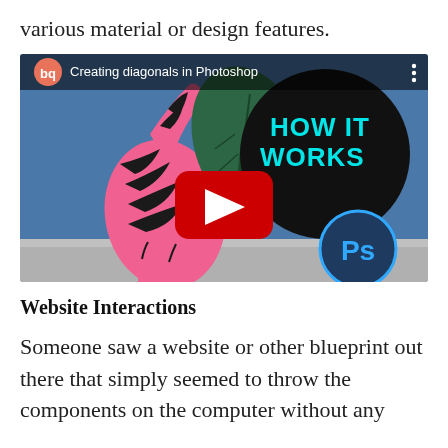various material or design features.
[Figure (screenshot): YouTube video thumbnail titled 'Creating diagonals in Photoshop' showing a pink and black striped zebra illustration against a blue background, with HOW IT WORKS text, a YouTube play button, and a Photoshop Ps logo badge.]
Website Interactions
Someone saw a website or other blueprint out there that simply seemed to throw the components on the computer without any